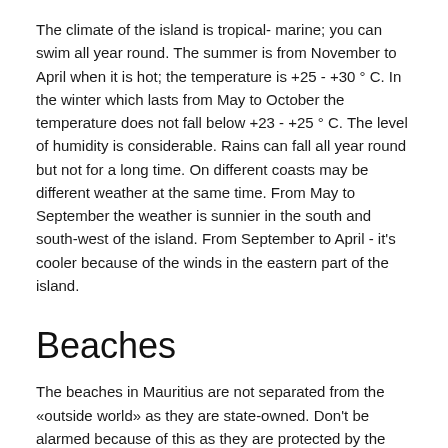The climate of the island is tropical- marine; you can swim all year round. The summer is from November to April when it is hot; the temperature is +25 - +30 ° C. In the winter which lasts from May to October the temperature does not fall below +23 - +25 ° C. The level of humidity is considerable. Rains can fall all year round but not for a long time. On different coasts may be different weather at the same time. From May to September the weather is sunnier in the south and south-west of the island. From September to April - it's cooler because of the winds in the eastern part of the island.
Beaches
The beaches in Mauritius are not separated from the «outside world» as they are state-owned. Don't be alarmed because of this as they are protected by the hotel security.
Each hotel carefully watches over its segment of the